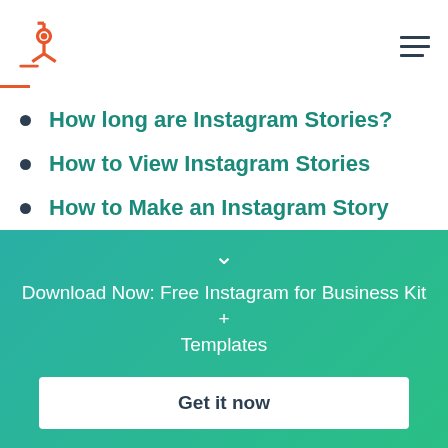HubSpot
How long are Instagram Stories?
How to View Instagram Stories
How to Make an Instagram Story
How to Use Instagram Stories for Business
Download Now: Free Instagram for Business Kit + Templates
Get it now